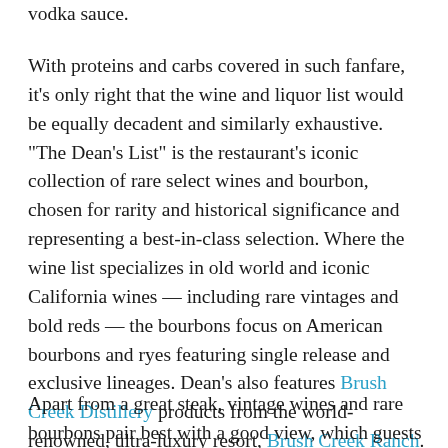vodka sauce.
With proteins and carbs covered in such fanfare, it's only right that the wine and liquor list would be equally decadent and similarly exhaustive. "The Dean's List" is the restaurant's iconic collection of rare select wines and bourbon, chosen for rarity and historical significance and representing a best-in-class selection. Where the wine list specializes in old world and iconic California wines — including rare vintages and bold reds — the bourbons focus on American bourbons and ryes featuring single release and exclusive lineages. Dean's also features Brush Creek Distillery products from the world-renowned, ultra-luxury resort, Brush Creek Ranch.
Apart from a great steak, vintage wines and rare bourbons pair best with a good view, which guests will find on the